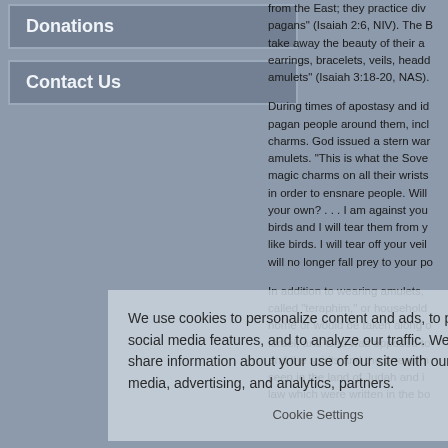Donations
Contact Us
from the East; they practice divination like pagans" (Isaiah 2:6, NIV). The B take away the beauty of their a earrings, bracelets, veils, headd amulets" (Isaiah 3:18-20, NAS).
During times of apostasy and id pagan people around them, incl charms. God issued a stern war amulets. "This is what the Sove magic charms on all their wrists in order to ensnare people. Will your own? . . . I am against you birds and I will tear them from y like birds. I will tear off your veil will no longer fall prey to your po
In addition to wearing amulets, called "teraphim," or household home or would be taken along o Israel, and God was opposed to and the spirits and the teraphim seen in the land of Judah and i law which were written in the bo
We use cookies to personalize content and ads, to provide social media features, and to analyze our traffic. We also share information about your use of our site with our social media, advertising, and analytics, partners.
Cookie Settings